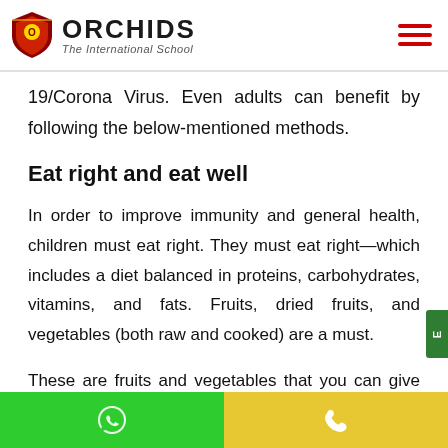ORCHIDS The International School
19/Corona Virus. Even adults can benefit by following the below-mentioned methods.
Eat right and eat well
In order to improve immunity and general health, children must eat right. They must eat right—which includes a diet balanced in proteins, carbohydrates, vitamins, and fats. Fruits, dried fruits, and vegetables (both raw and cooked) are a must.
These are fruits and vegetables that you can give your child now to improve their resistance to COVID-19.
WhatsApp | Phone contact